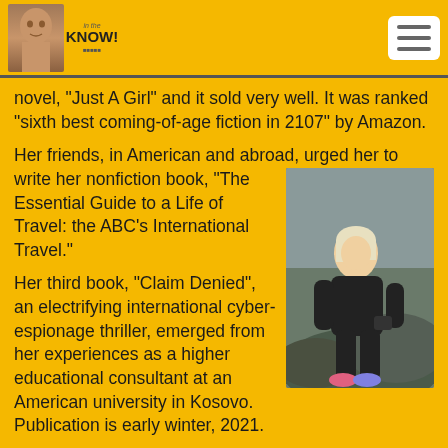In The Know
novel, “Just A Girl” and it sold very well. It was ranked “sixth best coming-of-age fiction in 2107” by Amazon.
Her friends, in American and abroad, urged her to write her nonfiction book, “The Essential Guide to a Life of Travel: the ABC’s International Travel.”
[Figure (photo): Woman with blonde hair sitting on rocks outdoors, wearing black jacket and pink shoes]
Her third book, “Claim Denied”, an electrifying international cyber-espionage thriller, emerged from her experiences as a higher educational consultant at an American university in Kosovo. Publication is early winter, 2021.
Diann's podcasts are fun, informative, and lively, focusing on her travels; personal experiences, challenges, and reflections; writing tips; and love stories, fictional, of course.
For now, Amelia Island, Florida is her home. When she